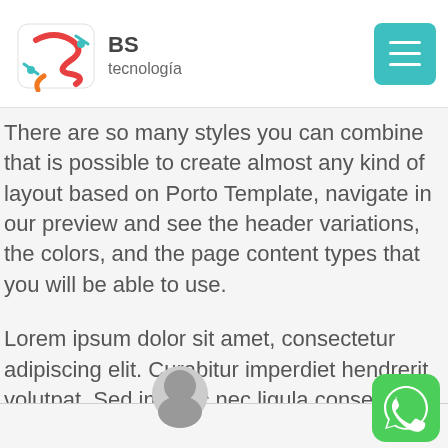BS tecnologia
There are so many styles you can combine that is possible to create almost any kind of layout based on Porto Template, navigate in our preview and see the header variations, the colors, and the page content types that you will be able to use.
Lorem ipsum dolor sit amet, consectetur adipiscing elit. Curabitur imperdiet hendrerit volutpat. Sed in nunc nec ligula consectetur mollis in vel justo. Vestibulum ante ipsum primis in faucibus orci.
[Figure (logo): WhatsApp green icon button at bottom right]
[Figure (photo): Partial person silhouette at bottom left]